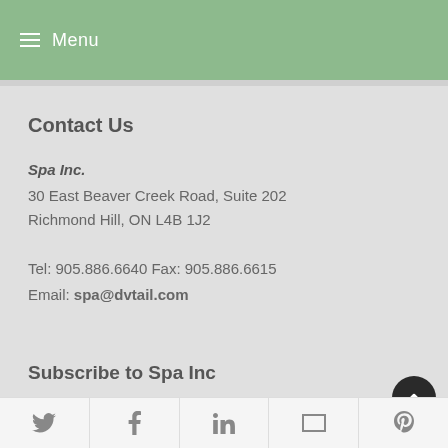Menu
Contact Us
Spa Inc.
30 East Beaver Creek Road, Suite 202
Richmond Hill, ON L4B 1J2
Tel: 905.886.6640 Fax: 905.886.6615
Email: spa@dvtail.com
Subscribe to Spa Inc
< Magazine